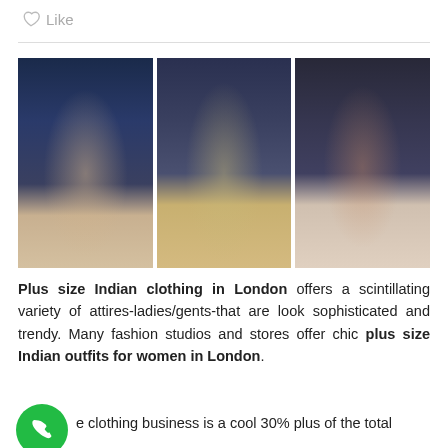Like
[Figure (photo): Three fashion runway photos showing models in Indian traditional attire on a catwalk with blue/dark background and marble floor. Left: model in beige/cream outfit, center: model in green outfit with orange dupatta, right: model in blue lehenga with red dupatta.]
Plus size Indian clothing in London offers a scintillating variety of attires-ladies/gents-that are look sophisticated and trendy. Many fashion studios and stores offer chic plus size Indian outfits for women in London.
e clothing business is a cool 30% plus of the total